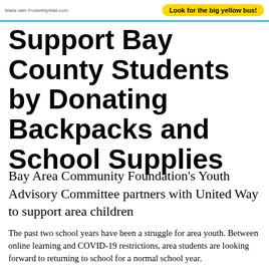Made with PosterMyWall.com
Look for the big yellow bus!
Support Bay County Students by Donating Backpacks and School Supplies
Bay Area Community Foundation's Youth Advisory Committee partners with United Way to support area children
The past two school years have been a struggle for area youth. Between online learning and COVID-19 restrictions, area students are looking forward to returning to school for a normal school year.